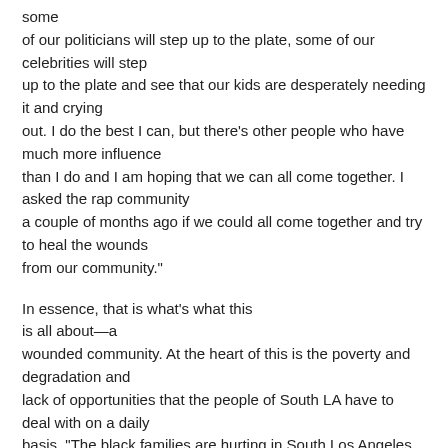some of our politicians will step up to the plate, some of our celebrities will step up to the plate and see that our kids are desperately needing it and crying out. I do the best I can, but there's other people who have much more influence than I do and I am hoping that we can all come together. I asked the rap community a couple of months ago if we could all come together and try to heal the wounds from our community."
In essence, that is what's what this is all about—a wounded community. At the heart of this is the poverty and degradation and lack of opportunities that the people of South LA have to deal with on a daily basis. "The black families are hurting in South Los Angeles right now,"